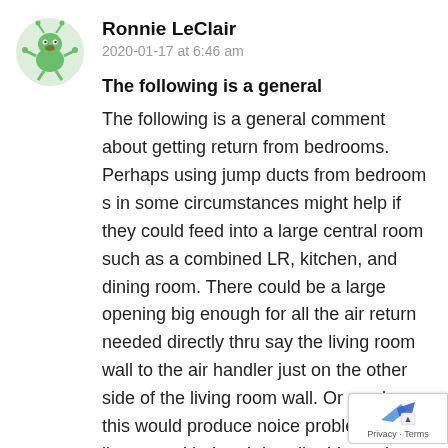[Figure (illustration): Round avatar image of a cartoon green alien/bug character on light green background]
Ronnie LeClair
2020-01-17 at 6:46 am
The following is a general
The following is a general comment about getting return from bedrooms. Perhaps using jump ducts from bedroom s in some circumstances might help if they could feed into a large central room such as a combined LR, kitchen, and dining room. There could be a large opening big enough for all the air return needed directly thru say the living room wall to the air handler just on the other side of the living room wall. Or maybe this would produce noice problems in the liv room with the air handler blower just on other side of the LR wall.
Privacy · Terms